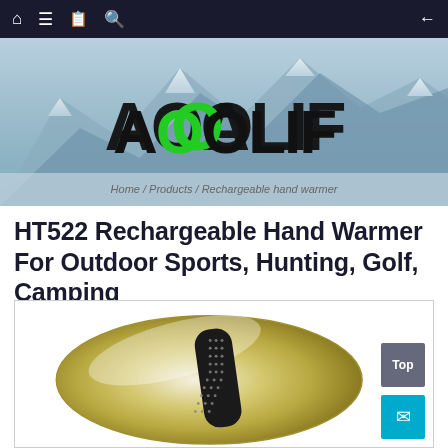Navigation bar with home, menu, bookmark, search icons and back arrow
[Figure (logo): AOOLIF brand logo on mountain hero banner background with snowy mountains. Logo text in black with green letter O.]
Home / Products / Rechargeable hand warmer
HT522 Rechargeable Hand Warmer For Outdoor Sports, Hunting, Golf, Camping
[Figure (photo): Product photo of a gold/silver oval-shaped rechargeable hand warmer with a black dot-matrix heating panel in the center, shown on white background. 'Top' and mail icon buttons visible in bottom right corner.]